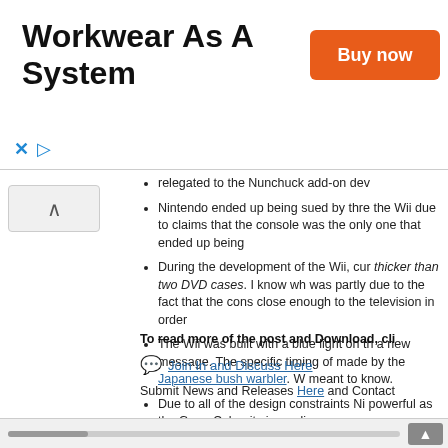[Figure (other): Advertisement banner for Truewerk workwear with 'Workwear As A System' title, orange 'Buy now' button, and Truewerk logo]
relegated to the Nunchuck add-on dev
Nintendo ended up being sued by thre the Wii due to claims that the console was the only one that ended up being
During the development of the Wii, cur thicker than two DVD cases. I know wh was partly due to the fact that the cons close enough to the television in order
The Wii was built with a blue light on th a new message. The specific timing of made by the Japanese bush warbler. W meant to know.
Due to all of the design constraints Ni powerful as the GameCube, its immedi
Though the specific big-headed ecce characters traces all the way back to th idea for a SNES game centered aroun features. N64 brought it back as “Tale
http://www.kotaku.co.uk/2015/05/11/7.
To read more of the post and Download, cli
Join In and Discuss Here
Submit News and Releases Here and Contact